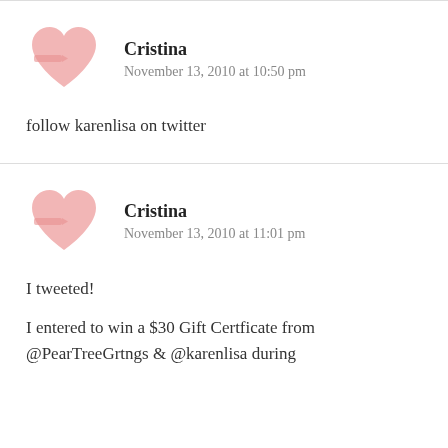[Figure (illustration): Pink heart-shaped avatar icon for user Cristina]
Cristina
November 13, 2010 at 10:50 pm
follow karenlisa on twitter
[Figure (illustration): Pink heart-shaped avatar icon for user Cristina]
Cristina
November 13, 2010 at 11:01 pm
I tweeted!
I entered to win a $30 Gift Certficate from @PearTreeGrtngs & @karenlisa during